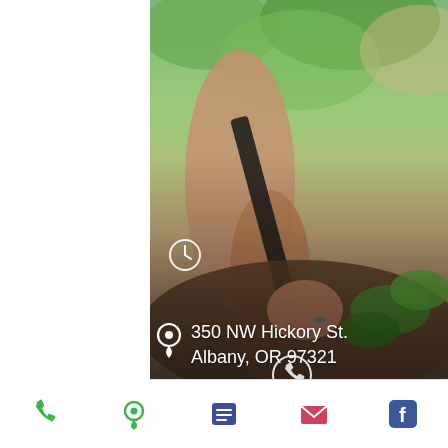[Figure (photo): Gardening photo showing a person's hand planting in soil with green plants, viewed from above. Left portion of screen is white (mobile UI). Dark overlay on bottom half with address info overlaid.]
350 NW Hickory St.
Albany, OR 97321
[Figure (infographic): Mobile app bottom navigation bar with 5 icons: phone (green), location pin (green), list/menu (dark blue), envelope/mail (pink/red), Facebook logo (blue)]